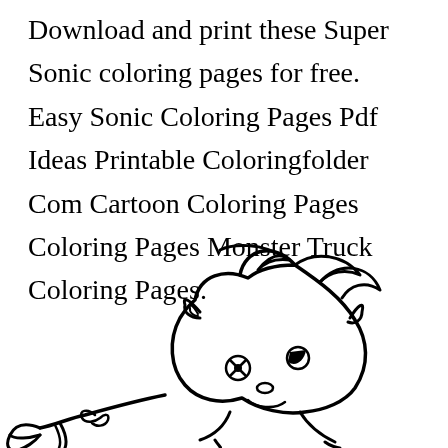Download and print these Super Sonic coloring pages for free. Easy Sonic Coloring Pages Pdf Ideas Printable Coloringfolder Com Cartoon Coloring Pages Coloring Pages Monster Truck Coloring Pages.
[Figure (illustration): Black and white line drawing coloring page of Super Sonic the Hedgehog character, showing the head and upper body with spiky hair, pointed ears, and a hand reaching forward, drawn in cartoon style suitable for coloring.]